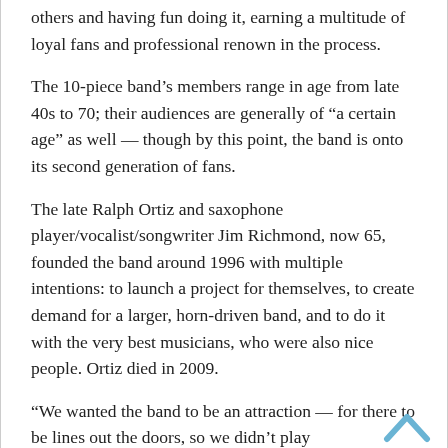others and having fun doing it, earning a multitude of loyal fans and professional renown in the process.
The 10-piece band’s members range in age from late 40s to 70; their audiences are generally of “a certain age” as well — though by this point, the band is onto its second generation of fans.
The late Ralph Ortiz and saxophone player/vocalist/songwriter Jim Richmond, now 65, founded the band around 1996 with multiple intentions: to launch a project for themselves, to create demand for a larger, horn-driven band, and to do it with the very best musicians, who were also nice people. Ortiz died in 2009.
“We wanted the band to be an attraction — for there to be lines out the doors, so we didn’t play